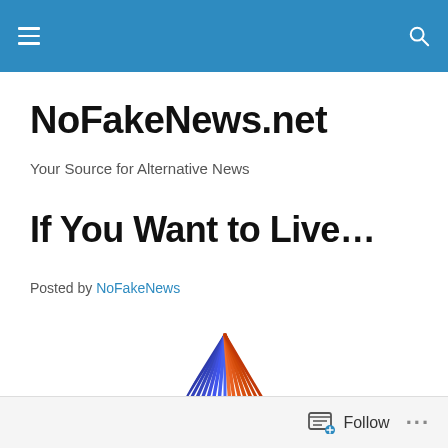NoFakeNews.net — navigation header bar
NoFakeNews.net
Your Source for Alternative News
If You Want to Live…
Posted by NoFakeNews
[Figure (logo): NoFakeNews logo: a triangle shape made of blue and orange radiating lines, with 'NoFakeNews' text below in dark blue]
Follow